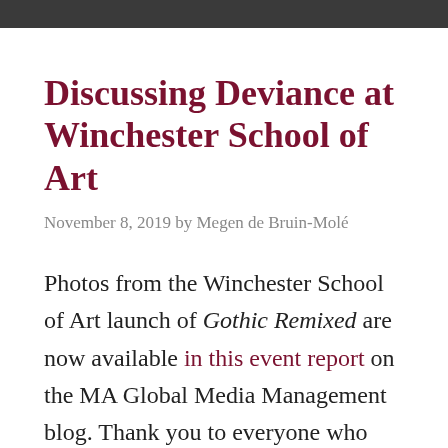Discussing Deviance at Winchester School of Art
November 8, 2019 by Megen de Bruin-Molé
Photos from the Winchester School of Art launch of Gothic Remixed are now available in this event report on the MA Global Media Management blog. Thank you to everyone who could join us! It was wonderful to